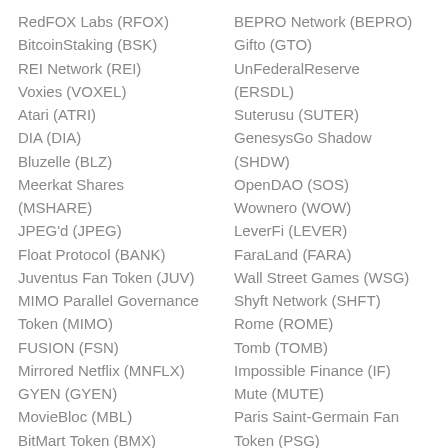RedFOX Labs (RFOX)
BitcoinStaking (BSK)
REI Network (REI)
Voxies (VOXEL)
Atari (ATRI)
DIA (DIA)
Bluzelle (BLZ)
Meerkat Shares (MSHARE)
JPEG'd (JPEG)
Float Protocol (BANK)
Juventus Fan Token (JUV)
MIMO Parallel Governance Token (MIMO)
FUSION (FSN)
Mirrored Netflix (MNFLX)
GYEN (GYEN)
MovieBloc (MBL)
BitMart Token (BMX)
BEPRO Network (BEPRO)
Gifto (GTO)
UnFederalReserve (ERSDL)
Suterusu (SUTER)
GenesysGo Shadow (SHDW)
OpenDAO (SOS)
Wownero (WOW)
LeverFi (LEVER)
FaraLand (FARA)
Wall Street Games (WSG)
Shyft Network (SHFT)
Rome (ROME)
Tomb (TOMB)
Impossible Finance (IF)
Mute (MUTE)
Paris Saint-Germain Fan Token (PSG)